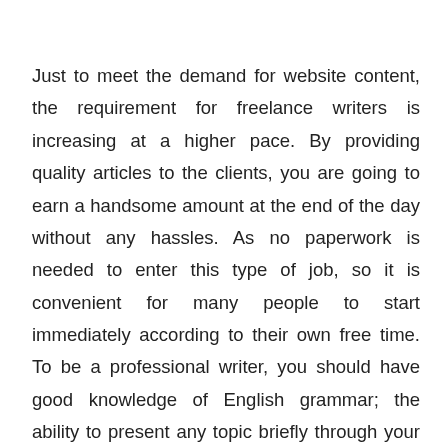Just to meet the demand for website content, the requirement for freelance writers is increasing at a higher pace. By providing quality articles to the clients, you are going to earn a handsome amount at the end of the day without any hassles. As no paperwork is needed to enter this type of job, so it is convenient for many people to start immediately according to their own free time. To be a professional writer, you should have good knowledge of English grammar; the ability to present any topic briefly through your writing as well as maintaining deadlines according to the client's deadline is required. The famous web platforms offering scope